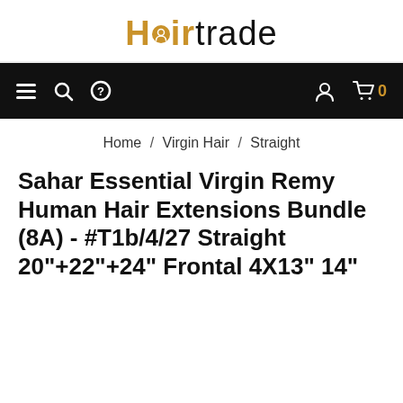Hairtrade
[Figure (screenshot): Navigation bar with hamburger menu, search icon, question mark icon on left; user account icon and cart (0) on right, on black background]
Home / Virgin Hair / Straight
Sahar Essential Virgin Remy Human Hair Extensions Bundle (8A) - #T1b/4/27 Straight 20"+22"+24" Frontal 4X13" 14"